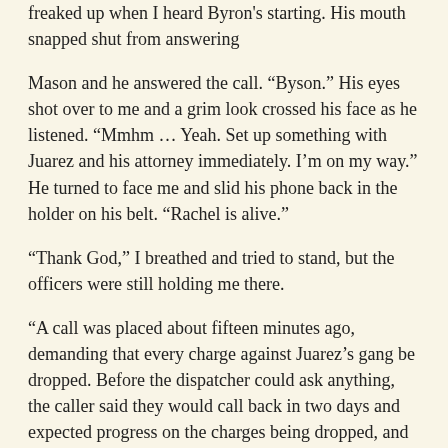freaked up when I heard Byron's starting. His mouth snapped shut from answering
Mason and he answered the call. “Byson.” His eyes shot over to me and a grim look crossed his face as he listened. “Mmhm … Yeah. Set up something with Juarez and his attorney immediately. I’m on my way.” He turned to face me and slid his phone back in the holder on his belt. “Rachel is alive.”
“Thank God,” I breathed and tried to stand, but the officers were still holding me there.
“A call was placed about fifteen minutes ago, demanding that every charge against Juarez’s gang be dropped. Before the dispatcher could ask anything, the caller said they would call back in two days and expected progress on the charges being dropped, and would continue to call every two days until every member of the gang was released. If there isn’t progress, there will be consequences, and if they aren’t released within the month … she dies.”
“Kash, Kash, Kash calm down. Come on, man. Calm down. I know.”